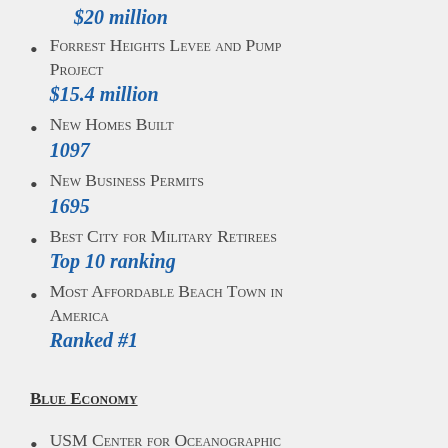$20 million
Forrest Heights Levee and Pump Project
$15.4 million
New Homes Built
1097
New Business Permits
1695
Best City for Military Retirees
Top 10 ranking
Most Affordable Beach Town in America
Ranked #1
Blue Economy
USM Center for Oceanographic Studies